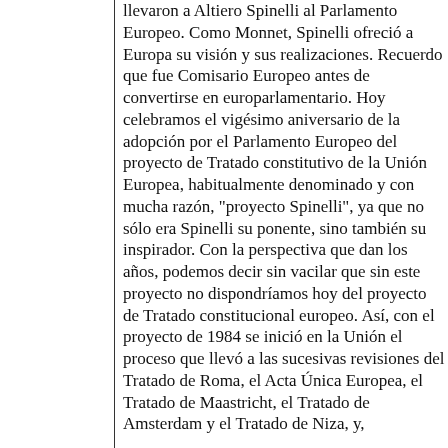llevaron a Altiero Spinelli al Parlamento Europeo. Como Monnet, Spinelli ofreció a Europa su visión y sus realizaciones. Recuerdo que fue Comisario Europeo antes de convertirse en europarlamentario. Hoy celebramos el vigésimo aniversario de la adopción por el Parlamento Europeo del proyecto de Tratado constitutivo de la Unión Europea, habitualmente denominado y con mucha razón, "proyecto Spinelli", ya que no sólo era Spinelli su ponente, sino también su inspirador. Con la perspectiva que dan los años, podemos decir sin vacilar que sin este proyecto no dispondríamos hoy del proyecto de Tratado constitucional europeo. Así, con el proyecto de 1984 se inició en la Unión el proceso que llevó a las sucesivas revisiones del Tratado de Roma, el Acta Única Europea, el Tratado de Maastricht, el Tratado de Amsterdam y el Tratado de Niza, y,